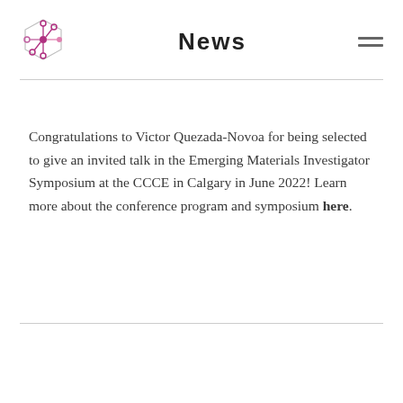News
[Figure (logo): Geometric network/molecular logo in purple and pink]
Congratulations to Victor Quezada-Novoa for being selected to give an invited talk in the Emerging Materials Investigator Symposium at the CCCE in Calgary in June 2022! Learn more about the conference program and symposium here.